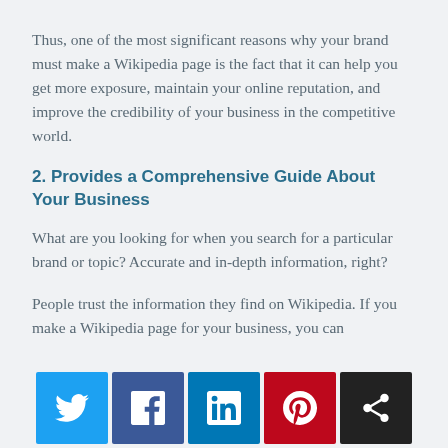Thus, one of the most significant reasons why your brand must make a Wikipedia page is the fact that it can help you get more exposure, maintain your online reputation, and improve the credibility of your business in the competitive world.
2. Provides a Comprehensive Guide About Your Business
What are you looking for when you search for a particular brand or topic? Accurate and in-depth information, right?
People trust the information they find on Wikipedia. If you make a Wikipedia page for your business, you can